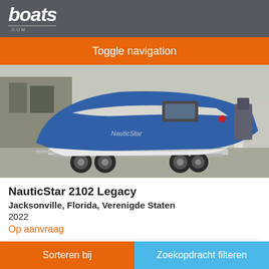boats .com
Toggle navigation
[Figure (photo): A blue and white NauticStar boat on a dual-axle trailer parked in what appears to be a marina or storage facility. The boat has a center console design with a blue hull and white trim.]
NauticStar 2102 Legacy
Jacksonville, Florida, Verenigde Staten
2022
Op aanvraag
Verkoper North Florida Yacht Sales
Sorteren bij   Zoekopdracht filteren